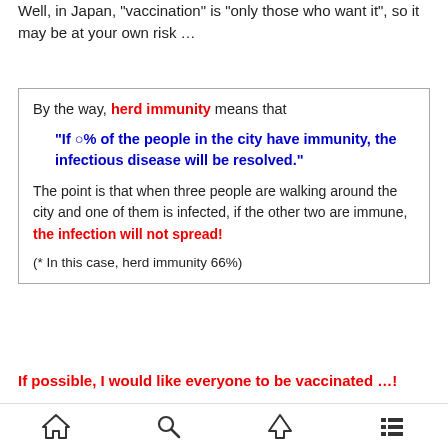Well, in Japan, "vaccination" is "only those who want it", so it may be at your own risk …
By the way, herd immunity means that
"If ○% of the people in the city have immunity, the infectious disease will be resolved."
The point is that when three people are walking around the city and one of them is infected, if the other two are immune, the infection will not spread!
(* In this case, herd immunity 66%)
If possible, I would like everyone to be vaccinated …!
[home icon] [search icon] [up icon] [menu icon]